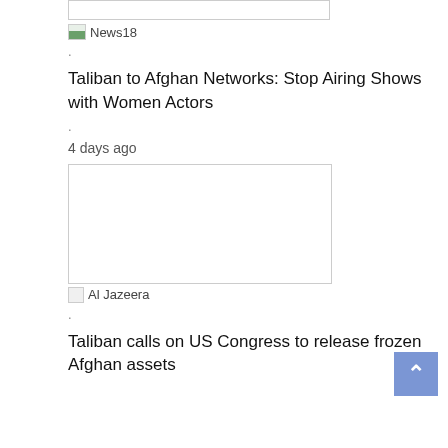[Figure (screenshot): Broken image placeholder box at top]
[Figure (logo): News18 logo with broken image icon]
.
Taliban to Afghan Networks: Stop Airing Shows with Women Actors
.
4 days ago
[Figure (photo): Empty image box placeholder]
[Figure (logo): Al Jazeera logo with broken image icon]
.
Taliban calls on US Congress to release frozen Afghan assets